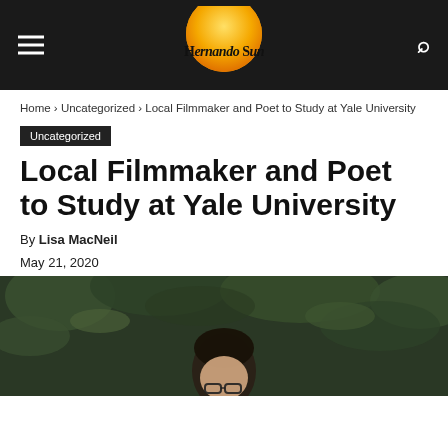Hernando Sun
Home › Uncategorized › Local Filmmaker and Poet to Study at Yale University
Uncategorized
Local Filmmaker and Poet to Study at Yale University
By Lisa MacNeil
May 21, 2020
[Figure (photo): Photo of a person with glasses and dark hair in front of green leafy plants]